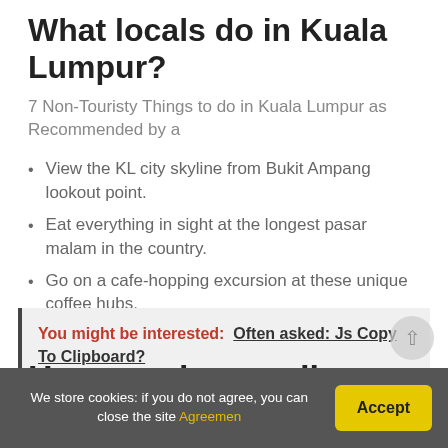What locals do in Kuala Lumpur?
7 Non-Touristy Things to do in Kuala Lumpur as Recommended by a
View the KL city skyline from Bukit Ampang lookout point.
Eat everything in sight at the longest pasar malam in the country.
Go on a cafe-hopping excursion at these unique coffee hubs.
Spend the morning at Desa Park City dog park.
You might be interested:  Often asked: Js Copy To Clipboard?
How much spending money do I need per day in Kuala Lumpur?
We store cookies: if you do not agree, you can close the site Agreemen